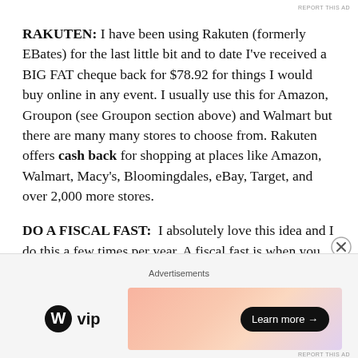REPORT THIS AD
RAKUTEN: I have been using Rakuten (formerly EBates) for the last little bit and to date I've received a BIG FAT cheque back for $78.92 for things I would buy online in any event. I usually use this for Amazon, Groupon (see Groupon section above) and Walmart but there are many many stores to choose from. Rakuten offers cash back for shopping at places like Amazon, Walmart, Macy's, Bloomingdales, eBay, Target, and over 2,000 more stores.
DO A FISCAL FAST: I absolutely love this idea and I do this a few times per year. A fiscal fast is when you do not spend any money for a whole week, five times per year. It is an opportunity to use up household items, like canned food that gets pushed to the back of the cupboard or those tiny shampoo bottles you get at a hotel. Because I'm a bit OCD
Advertisements
[Figure (other): WordPress VIP logo and a gradient advertisement banner with a 'Learn more' button]
REPORT THIS AD